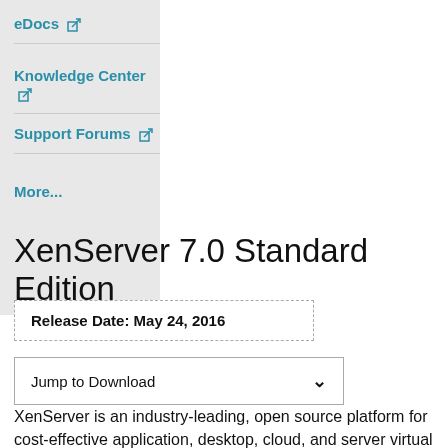eDocs ↗
Knowledge Center ↗
Support Forums ↗
More...
XenServer 7.0 Standard Edition
Release Date: May 24, 2016
Jump to Download
XenServer is an industry-leading, open source platform for cost-effective application, desktop, cloud, and server virtual infrastructures. XenServer enables organizations of any size or